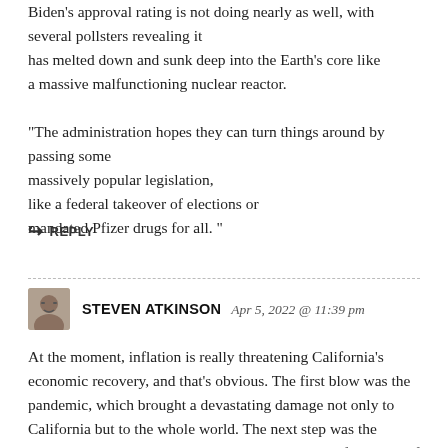Biden's approval rating is not doing nearly as well, with several pollsters revealing it has melted down and sunk deep into the Earth's core like a massive malfunctioning nuclear reactor. “The administration hopes they can turn things around by passing some massively popular legislation, like a federal takeover of elections or mandated Pfizer drugs for all. ”
REPLY
STEVEN ATKINSON  Apr 5, 2022 @ 11:39 pm
At the moment, inflation is really threatening California’s economic recovery, and that’s obvious. The first blow was the pandemic, which brought a devastating damage not only to California but to the whole world. The next step was the unemployment increasing, which caused the loss of millions of jobs. The problem now is an eye-popping gas prices. The given